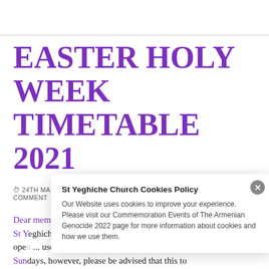EASTER HOLY WEEK TIMETABLE 2021
24TH MARCH 2021   KEGHVART VARTANIAN   LEAVE A COMMENT
Dear ... members, St Y... mail, ope... user Sun... this to CO... social distancing restrictions and ...
St Yeghiche Church Cookies Policy

Our Website uses cookies to improve your experience. Please visit our Commemoration Events of The Armenian Genocide 2022 page for more information about cookies and how we use them.